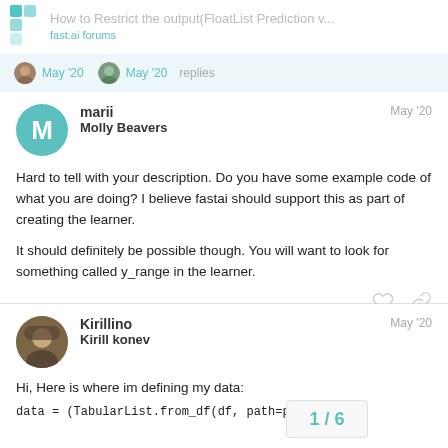How to Restrict the output(FloatList Prediction v... fast.ai forums
May '20  May '20  replies
marii Molly Beavers May '20
Hard to tell with your description. Do you have some example code of what you are doing? I believe fastai should support this as part of creating the learner.

It should definitely be possible though. You will want to look for something called y_range in the learner.
Kirillino Kirill konev May '20
Hi, Here is where im defining my data:
data = (TabularList.from_df(df, path=path
1 / 6